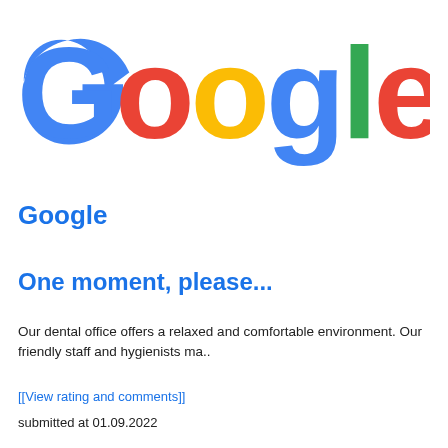[Figure (logo): Google logo in multicolor: blue G, red o, yellow o, blue g, green l, red e]
Google
One moment, please...
Our dental office offers a relaxed and comfortable environment. Our friendly staff and hygienists ma..
[[View rating and comments]]
submitted at 01.09.2022